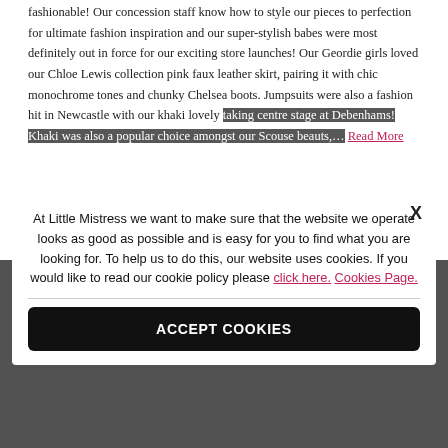fashionable! Our concession staff know how to style our pieces to perfection for ultimate fashion inspiration and our super-stylish babes were most definitely out in force for our exciting store launches! Our Geordie girls loved our Chloe Lewis collection pink faux leather skirt, pairing it with chic monochrome tones and chunky Chelsea boots. Jumpsuits were also a fashion hit in Newcastle with our khaki lovely taking centre stage at Debenhams! Khaki was also a popular choice amongst our Scouse beauts,... Read More
At Little Mistress we want to make sure that the website we operate looks as good as possible and is easy for you to find what you are looking for. To help us to do this, our website uses cookies. If you would like to read our cookie policy please click here. Cookies Page.
ACCEPT COOKIES